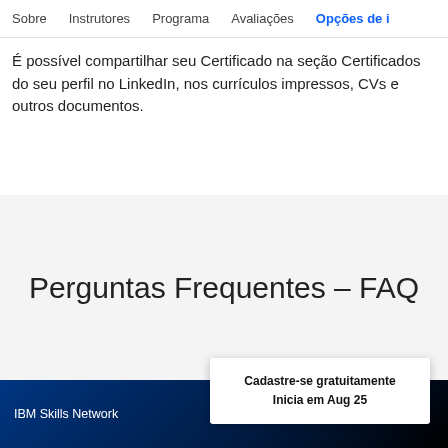Sobre | Instrutores | Programa | Avaliações | Opções de i
É possível compartilhar seu Certificado na seção Certificados do seu perfil no LinkedIn, nos currículos impressos, CVs e outros documentos.
Perguntas Frequentes – FAQ
IBM Skills Network
Cadastre-se gratuitamente
Inicia em Aug 25